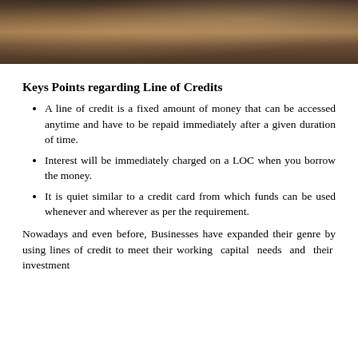[Figure (photo): A photograph showing hands over a desk with papers, books, and tags in dark warm tones.]
Keys Points regarding Line of Credits
A line of credit is a fixed amount of money that can be accessed anytime and have to be repaid immediately after a given duration of time.
Interest will be immediately charged on a LOC when you borrow the money.
It is quiet similar to a credit card from which funds can be used whenever and wherever as per the requirement.
Nowadays and even before, Businesses have expanded their genre by using lines of credit to meet their working capital needs and their investment